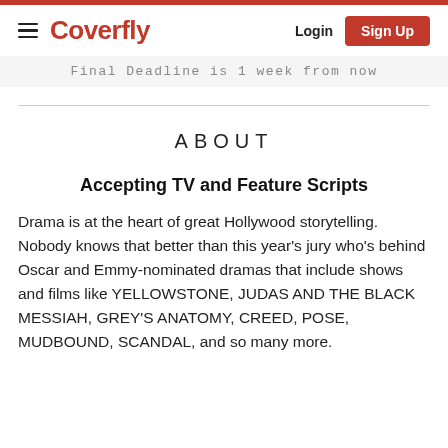Coverfly — Login / Sign Up
Final Deadline is 1 week from now
ABOUT
Accepting TV and Feature Scripts
Drama is at the heart of great Hollywood storytelling. Nobody knows that better than this year's jury who's behind Oscar and Emmy-nominated dramas that include shows and films like YELLOWSTONE, JUDAS AND THE BLACK MESSIAH, GREY'S ANATOMY, CREED, POSE, MUDBOUND, SCANDAL, and so many more.